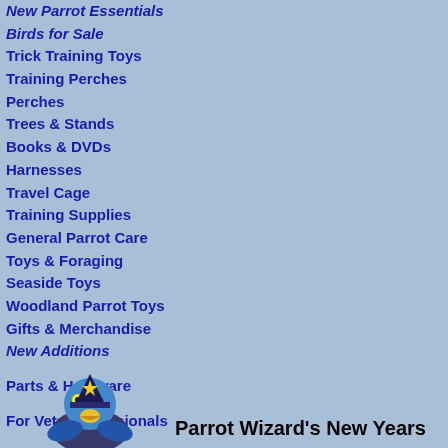New Parrot Essentials
Birds for Sale
Trick Training Toys
Training Perches
Perches
Trees & Stands
Books & DVDs
Harnesses
Travel Cage
Training Supplies
General Parrot Care
Toys & Foraging
Seaside Toys
Woodland Parrot Toys
Gifts & Merchandise
New Additions
Parts & Hardware
For Vets/Professionals
[Figure (illustration): A cartoon parrot wizard illustration in blue and yellow]
Parrot Wizard's New Years